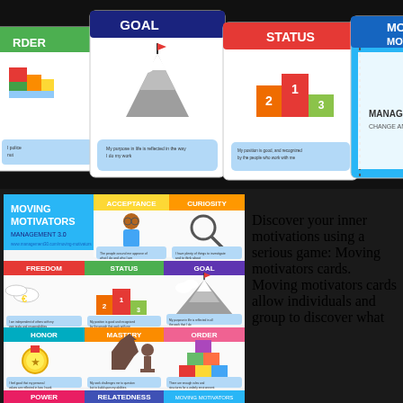[Figure (photo): Photo of Moving Motivators card deck fanned out on dark surface showing cards with labels GOAL, STATUS, and MOVING MOTIVATORS/MANAGEMENT 3.0 visible, with colorful illustrated cards showing mountain, podium, and other icons]
[Figure (infographic): Moving Motivators infographic showing a grid of motivator cards including ACCEPTANCE, CURIOSITY, FREEDOM, STATUS, GOAL, HONOR, MASTERY, ORDER, POWER, RELATEDNESS with colorful headers and illustrated icons]
Discover your inner motivations using a serious game: Moving motivators cards. Moving motivators cards allow individuals and group to discover what